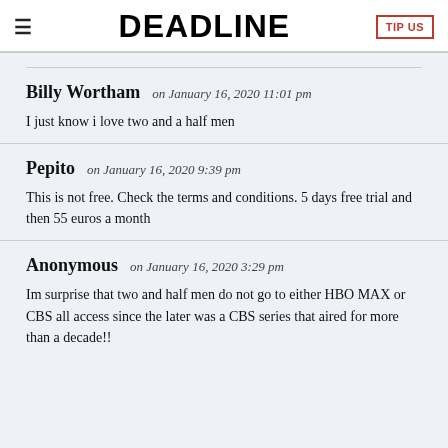≡  DEADLINE  TIP US
Billy Wortham on January 16, 2020 11:01 pm
I just know i love two and a half men
Pepito on January 16, 2020 9:39 pm
This is not free. Check the terms and conditions. 5 days free trial and then 55 euros a month
Anonymous on January 16, 2020 3:29 pm
Im surprise that two and half men do not go to either HBO MAX or CBS all access since the later was a CBS series that aired for more than a decade!!